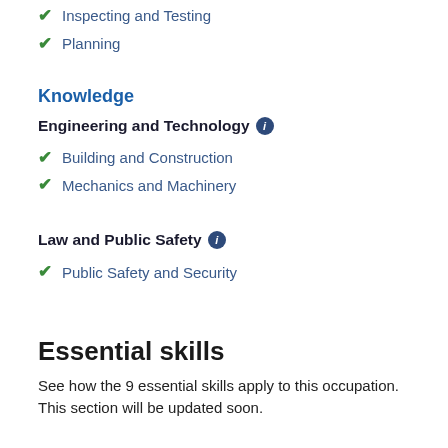Inspecting and Testing
Planning
Knowledge
Engineering and Technology
Building and Construction
Mechanics and Machinery
Law and Public Safety
Public Safety and Security
Essential skills
See how the 9 essential skills apply to this occupation. This section will be updated soon.